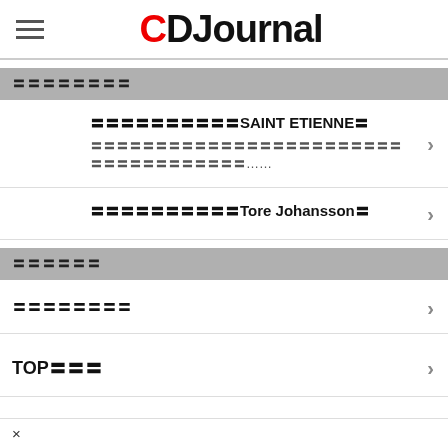CDJournal
〓〓〓〓〓〓〓〓
〓〓〓〓〓〓〓〓〓〓SAINT ETIENNE〓
〓〓〓〓〓〓〓〓〓〓〓〓〓〓〓〓〓〓〓〓〓〓〓〓〓〓〓〓〓〓〓〓〓〓〓〓……
〓〓〓〓〓〓〓〓〓〓Tore Johansson〓
〓〓〓〓〓〓
〓〓〓〓〓〓〓〓
TOP〓〓〓